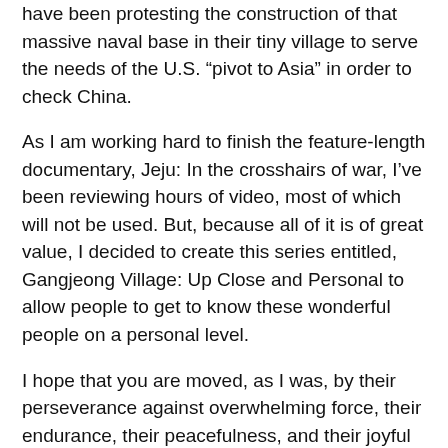have been protesting the construction of that massive naval base in their tiny village to serve the needs of the U.S. “pivot to Asia” in order to check China.
As I am working hard to finish the feature-length documentary, Jeju: In the crosshairs of war, I’ve been reviewing hours of video, most of which will not be used. But, because all of it is of great value, I decided to create this series entitled, Gangjeong Village: Up Close and Personal to allow people to get to know these wonderful people on a personal level.
I hope that you are moved, as I was, by their perseverance against overwhelming force, their endurance, their peacefulness, and their joyful spirits.
First in the series is Fr. Mun Jeong Hyeon, the iconic 74 yr old priest who has been beaten, hospitalized and jailed for protesting the construction of the base. Fr. Mun is known as a “street father” because of his support for victims of human